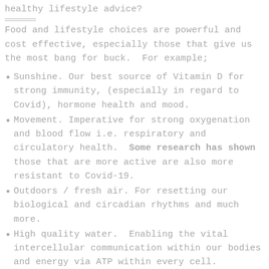healthy lifestyle advice?
Food and lifestyle choices are powerful and cost effective, especially those that give us the most bang for buck.  For example;
Sunshine. Our best source of Vitamin D for strong immunity, (especially in regard to Covid), hormone health and mood.
Movement. Imperative for strong oxygenation and blood flow i.e. respiratory and circulatory health.  Some research has shown those that are more active are also more resistant to Covid-19.
Outdoors / fresh air. For resetting our biological and circadian rhythms and much more.
High quality water.  Enabling the vital intercellular communication within our bodies and energy via ATP within every cell.
Fresh whole foods. Providing the...